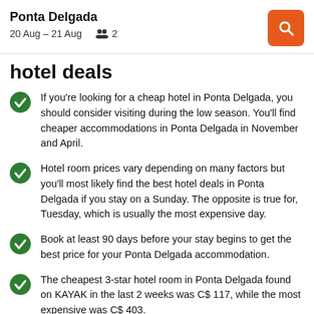Ponta Delgada
20 Aug – 21 Aug  2
hotel deals
If you're looking for a cheap hotel in Ponta Delgada, you should consider visiting during the low season. You'll find cheaper accommodations in Ponta Delgada in November and April.
Hotel room prices vary depending on many factors but you'll most likely find the best hotel deals in Ponta Delgada if you stay on a Sunday. The opposite is true for, Tuesday, which is usually the most expensive day.
Book at least 90 days before your stay begins to get the best price for your Ponta Delgada accommodation.
The cheapest 3-star hotel room in Ponta Delgada found on KAYAK in the last 2 weeks was C$ 117, while the most expensive was C$ 403.
How long should you stay? KAYAK users usually book their